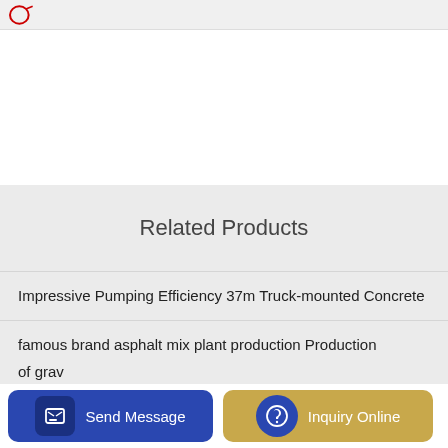Related Products
Impressive Pumping Efficiency 37m Truck-mounted Concrete
famous brand asphalt mix plant production Production
China Self Loading Mobile Concrete Mixer Truck HQ400 for
of grav
Send Message | Inquiry Online